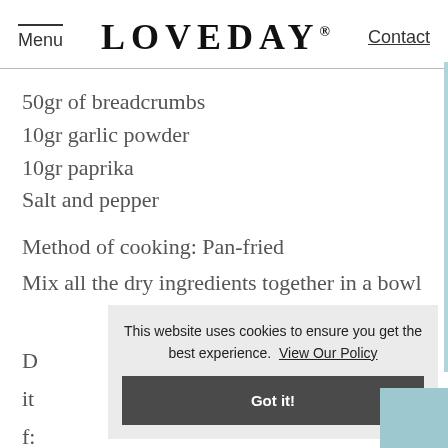Menu  LOVEDAY®  Contact
50gr of breadcrumbs
10gr garlic powder
10gr paprika
Salt and pepper
Method of cooking: Pan-fried
Mix all the dry ingredients together in a bowl
This website uses cookies to ensure you get the best experience. View Our Policy
Got it!